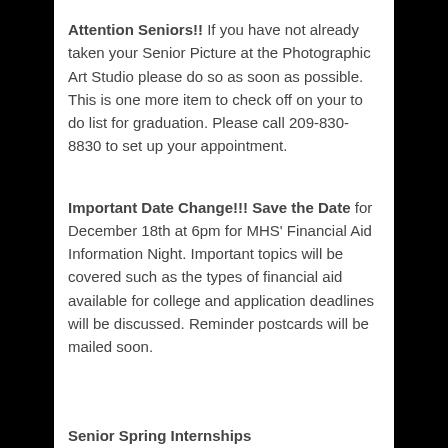Attention Seniors!! If you have not already taken your Senior Picture at the Photographic Art Studio please do so as soon as possible. This is one more item to check off on your to do list for graduation. Please call 209-830-8830 to set up your appointment.
Important Date Change!!! Save the Date for December 18th at 6pm for MHS' Financial Aid Information Night. Important topics will be covered such as the types of financial aid available for college and application deadlines will be discussed. Reminder postcards will be mailed soon.
Senior Spring Internships